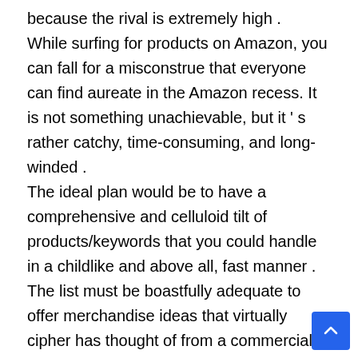because the rival is extremely high . While surfing for products on Amazon, you can fall for a misconstrue that everyone can find aureate in the Amazon recess. It is not something unachievable, but it ' s rather catchy, time-consuming, and long-winded . The ideal plan would be to have a comprehensive and celluloid tilt of products/keywords that you could handle in a childlike and above all, fast manner . The list must be boastfully adequate to offer merchandise ideas that virtually cipher has thought of from a commercial point of position. And therefore, must be off the beat path of contest. Of course, the mind is not to generate this list by p... but get engineering do the work for you. And that '